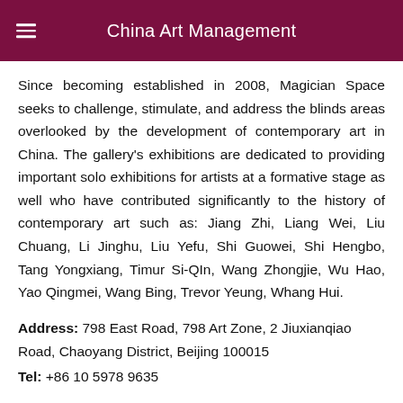China Art Management
Since becoming established in 2008, Magician Space seeks to challenge, stimulate, and address the blinds areas overlooked by the development of contemporary art in China. The gallery's exhibitions are dedicated to providing important solo exhibitions for artists at a formative stage as well who have contributed significantly to the history of contemporary art such as: Jiang Zhi, Liang Wei, Liu Chuang, Li Jinghu, Liu Yefu, Shi Guowei, Shi Hengbo, Tang Yongxiang, Timur Si-QIn, Wang Zhongjie, Wu Hao, Yao Qingmei, Wang Bing, Trevor Yeung, Whang Hui.
Address: 798 East Road, 798 Art Zone, 2 Jiuxianqiao Road, Chaoyang District, Beijing 100015
Tel: +86 10 5978 9635